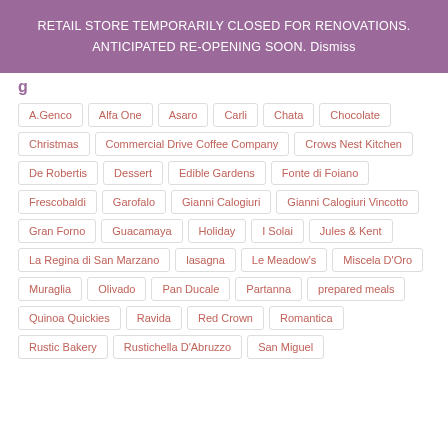RETAIL STORE TEMPORARILY CLOSED FOR RENOVATIONS. ANTICIPATED RE-OPENING SOON. Dismiss
A.Genco
Alfa One
Asaro
Carli
Chata
Chocolate
Christmas
Commercial Drive Coffee Company
Crows Nest Kitchen
De Robertis
Dessert
Edible Gardens
Fonte di Foiano
Frescobaldi
Garofalo
Gianni Calogiuri
Gianni Calogiuri Vincotto
Gran Forno
Guacamaya
Holiday
I Solai
Jules & Kent
La Regina di San Marzano
lasagna
Le Meadow's
Miscela D'Oro
Muraglia
Olivado
Pan Ducale
Partanna
prepared meals
Quinoa Quickies
Ravida
Red Crown
Romantica
Rustic Bakery
Rustichella D'Abruzzo
San Miguel